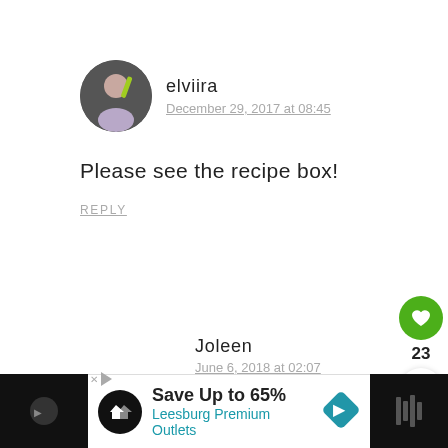[Figure (photo): Circular avatar photo of user elviira]
elviira
December 29, 2017 at 08:45
Please see the recipe box!
REPLY
Joleen
June 6, 2018 at 02:07
I've looked at the recipe several times. How many ounces or
23
[Figure (infographic): Heart (like) button and share button on right side, and an advertisement banner at bottom: Save Up to 65% Leesburg Premium Outlets]